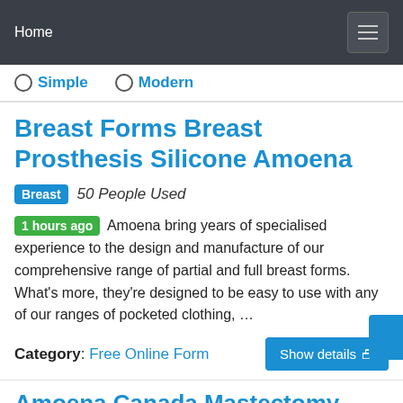Home
Simple   Modern
Breast Forms Breast Prosthesis Silicone Amoena
Breast  50 People Used
1 hours ago  Amoena bring years of specialised experience to the design and manufacture of our comprehensive range of partial and full breast forms. What’s more, they’re designed to be easy to use with any of our ranges of pocketed clothing, …
Category: Free Online Form
Amoena Canada Mastectomy Bras &